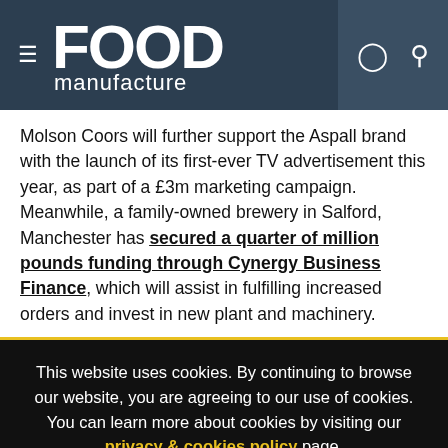FOOD manufacture
Molson Coors will further support the Aspall brand with the launch of its first-ever TV advertisement this year, as part of a £3m marketing campaign.
Meanwhile, a family-owned brewery in Salford, Manchester has secured a quarter of million pounds funding through Cynergy Business Finance, which will assist in fulfilling increased orders and invest in new plant and machinery.
This website uses cookies. By continuing to browse our website, you are agreeing to our use of cookies. You can learn more about cookies by visiting our privacy & cookies policy page.